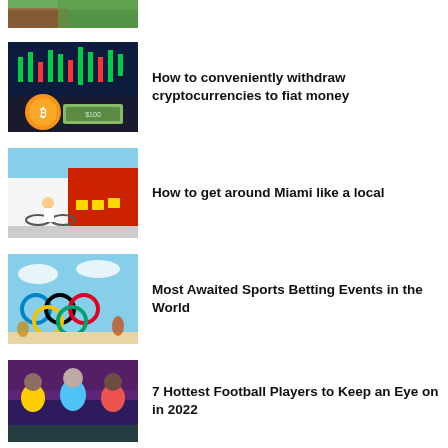[Figure (photo): Partial image visible at top - cropped green/red abstract image]
[Figure (photo): Cryptocurrency coins and stock chart with Bitcoin coin and dollar bills]
How to conveniently withdraw cryptocurrencies to fiat money
[Figure (photo): People cycling on bikes near colorful cafe with yellow chairs in Miami]
How to get around Miami like a local
[Figure (photo): Olympic rings with athletes and sports scenes, sky background]
Most Awaited Sports Betting Events in the World
[Figure (photo): Three football players in colorful jerseys posing together]
7 Hottest Football Players to Keep an Eye on in 2022